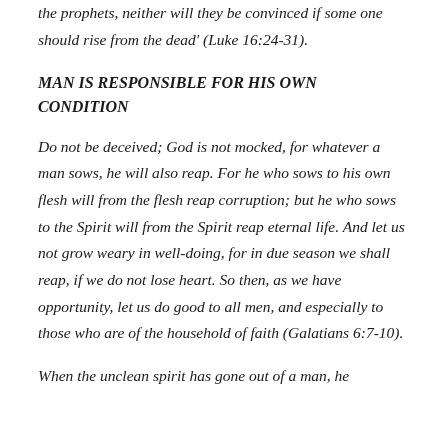the prophets, neither will they be convinced if some one should rise from the dead' (Luke 16:24-31).
MAN IS RESPONSIBLE FOR HIS OWN CONDITION
Do not be deceived; God is not mocked, for whatever a man sows, he will also reap. For he who sows to his own flesh will from the flesh reap corruption; but he who sows to the Spirit will from the Spirit reap eternal life. And let us not grow weary in well-doing, for in due season we shall reap, if we do not lose heart. So then, as we have opportunity, let us do good to all men, and especially to those who are of the household of faith (Galatians 6:7-10).
When the unclean spirit has gone out of a man, he